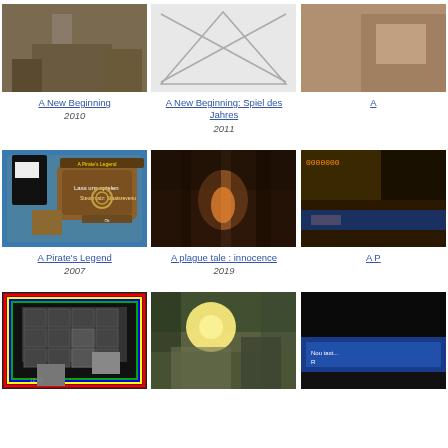[Figure (screenshot): Game screenshot for A New Beginning showing a character in a rocky environment]
A New Beginning
2010
[Figure (photo): Placeholder image (grey with X) for A New Beginning: Spiel des Jahres]
A New Beginning: Spiel des Jahres
2011
[Figure (screenshot): Partially visible screenshot for a third game]
A
[Figure (screenshot): Game screenshot for A Pirate's Legend showing pirate game menu]
A Pirate's Legend
2007
[Figure (photo): Photo for A plague tale: innocence showing a character with a torch in a dark archway]
A plague tale : innocence
2019
[Figure (screenshot): Partially visible screenshot for A P...]
A P
[Figure (screenshot): Game screenshot showing a character selection/puzzle screen with grid of icons]
[Figure (photo): Photo of an outdoor stone ruin with bright light]
[Figure (screenshot): Partially visible screenshot with blue text box saying 'Nou tast... R']